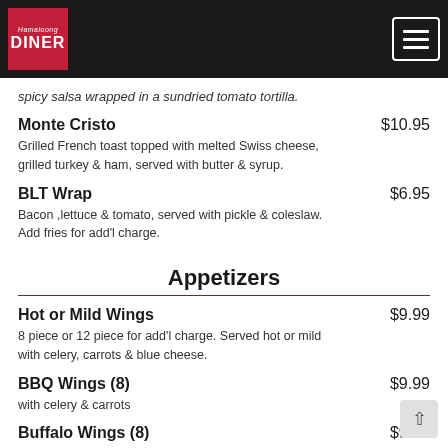Hamaloong Diner
spicy salsa wrapped in a sundried tomato tortilla.
Monte Cristo $10.95 — Grilled French toast topped with melted Swiss cheese, grilled turkey & ham, served with butter & syrup.
BLT Wrap $6.95 — Bacon ,lettuce & tomato, served with pickle & coleslaw. Add fries for add'l charge.
Appetizers
Hot or Mild Wings $9.99 — 8 piece or 12 piece for add'l charge. Served hot or mild with celery, carrots & blue cheese.
BBQ Wings (8) $9.99 — with celery & carrots
Buffalo Wings (8) $9.99